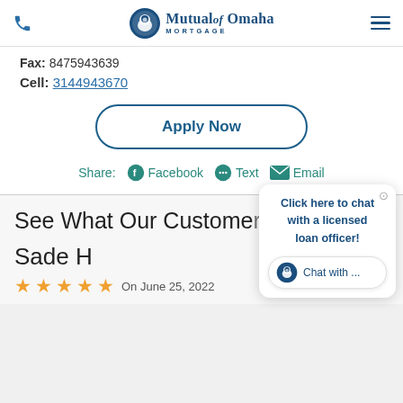Mutual of Omaha Mortgage — header with phone icon and hamburger menu
Fax: 8475943639
Cell: 3144943670
Apply Now
Share: Facebook Text Email
See What Our Customer
Sade H
On June 25, 2022
Click here to chat with a licensed loan officer!
Chat with ...